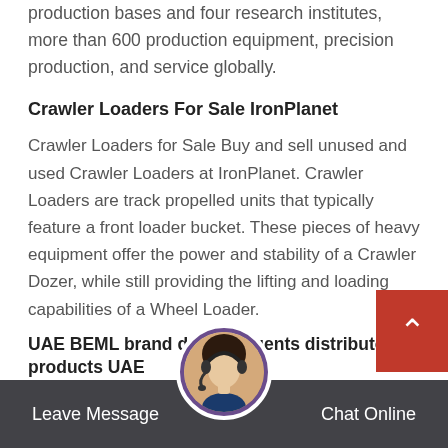production bases and four research institutes, more than 600 production equipment, precision production, and service globally.
Crawler Loaders For Sale IronPlanet
Crawler Loaders for Sale Buy and sell unused and used Crawler Loaders at IronPlanet. Crawler Loaders are track propelled units that typically feature a front loader bucket. These pieces of heavy equipment offer the power and stability of a Crawler Dozer, while still providing the lifting and loading capabilities of a Wheel Loader.
UAE BEML brand dealers agents distributor products UAE
Get comprehensive list of dealers UAE, BEML branded products, agents, distributors, search